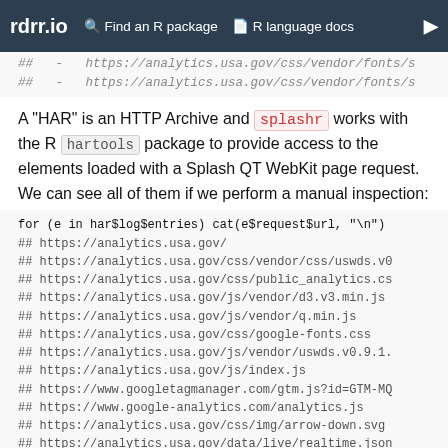rdrr.io   Find an R package   R language docs
##  -  https://analytics.usa.gov/css/vendor/fonts/s
##  -  https://analytics.usa.gov/css/vendor/fonts/s
A "HAR" is an HTTP Archive and splashr works with the R hartools package to provide access to the elements loaded with a Splash QT WebKit page request. We can see all of them if we perform a manual inspection:
for (e in har$log$entries) cat(e$request$url, "\n")
## https://analytics.usa.gov/
## https://analytics.usa.gov/css/vendor/css/uswds.v0
## https://analytics.usa.gov/css/public_analytics.cs
## https://analytics.usa.gov/js/vendor/d3.v3.min.js
## https://analytics.usa.gov/js/vendor/q.min.js
## https://analytics.usa.gov/css/google-fonts.css
## https://analytics.usa.gov/js/vendor/uswds.v0.9.1.
## https://analytics.usa.gov/js/index.js
## https://www.googletagmanager.com/gtm.js?id=GTM-MQ
## https://www.google-analytics.com/analytics.js
## https://analytics.usa.gov/css/img/arrow-down.svg
## https://analytics.usa.gov/data/live/realtime.json
## https://analytics.usa.gov/data/live/today.json
## https://analytics.usa.gov/data/live/devices.json
## https://analytics.usa.gov/data/live/browsers.json
## https://analytics.usa.gov/data/live/ie.json